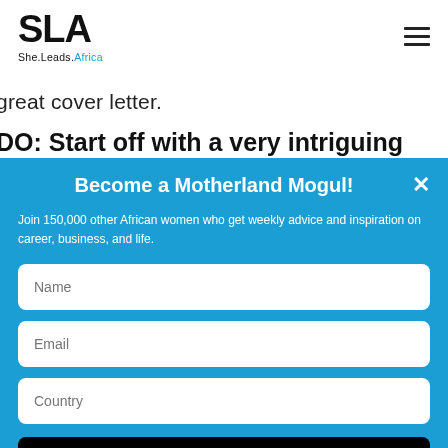SLA She.Leads.Africa
great cover letter.
DO: Start off with a very intriguing first
Become a Motherland Mogul!
Join 150,000 other African women who get weekly advice and inspiration on career, business, and life.
Name
Email
Country
YES, I'M IN!